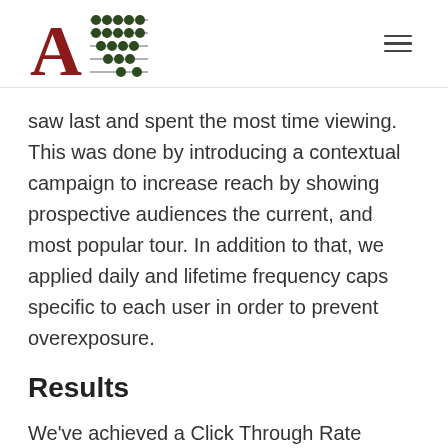[Figure (logo): Logo with a large dark red letter A and an abacus-style grid of dark green dots on horizontal lines forming a square beside it]
saw last and spent the most time viewing. This was done by introducing a contextual campaign to increase reach by showing prospective audiences the current, and most popular tour. In addition to that, we applied daily and lifetime frequency caps specific to each user in order to prevent overexposure.
Results
We've achieved a Click Through Rate (CTR) of 0.09%, which generated a